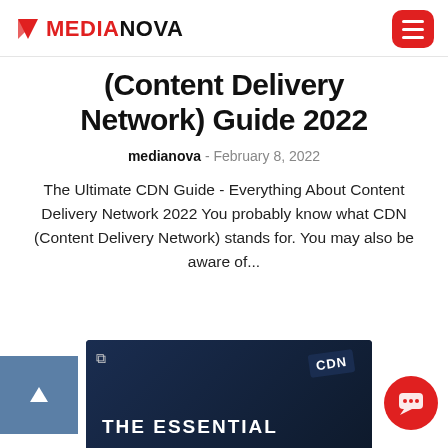MEDIANOVA
(Content Delivery Network) Guide 2022
medianova - February 8, 2022
The Ultimate CDN Guide - Everything About Content Delivery Network 2022 You probably know what CDN (Content Delivery Network) stands for. You may also be aware of...
[Figure (screenshot): Bottom area showing a blue scroll-to-top button, a dark CDN card with 'THE ESSENTIAL' text and a CDN book label, and a red chat button]